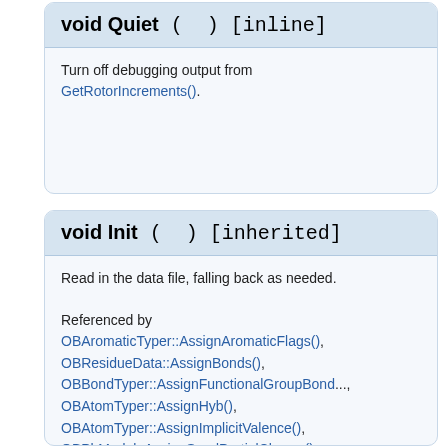void Quiet ( ) [inline]
Turn off debugging output from GetRotorIncrements().
void Init ( ) [inherited]
Read in the data file, falling back as needed.

Referenced by OBAromaticTyper::AssignAromaticFlags(), OBResidueData::AssignBonds(), OBBondTyper::AssignFunctionalGroupBond..., OBAtomTyper::AssignHyb(), OBAtomTyper::AssignImplicitValence(), OBPhModel::AssignSeedPartialCharge(), OBRingTyper::AssignTypes(), OBAtomTyper::AssignTypes(), OBAtomTyper::CorrectAromaticNitrogens(), OBElementTable::CorrectedBondRad(), OBElementTable::CorrectedVdwRad(), OBPhModel::CorrectForPH(), OBElementTable::GetAllredRochowElectroN..., OBElementTable::GetAtomicNum(), OBElementTable::GetCovalentRad(), OBElementTable::GetElectronAffinity(), OBElementTable::GetElectroNeg(), OBElementTable::GetExactMass().